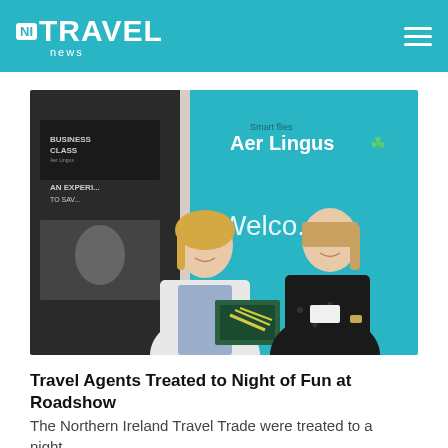NI TRAVEL news
[Figure (photo): Two women standing together holding an Aer Lingus brochure/folder, in front of Aer Lingus 'Smart flies Aer Lingus' and 'Welcome' banners. The woman on the left wears a white blazer, the woman on the right wears a black top with a name badge. There is also a 'Business Class - An Experience to Savour' banner on the left side.]
Travel Agents Treated to Night of Fun at Roadshow
The Northern Ireland Travel Trade were treated to a night...